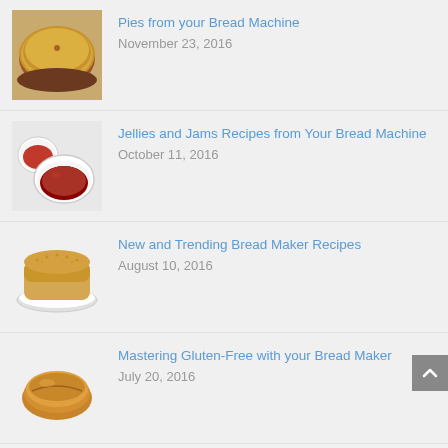Pies from your Bread Machine
November 23, 2016
Jellies and Jams Recipes from Your Bread Machine
October 11, 2016
New and Trending Bread Maker Recipes
August 10, 2016
Mastering Gluten-Free with your Bread Maker
July 20, 2016
Harvest Bread Recipes for Your Bread Machine